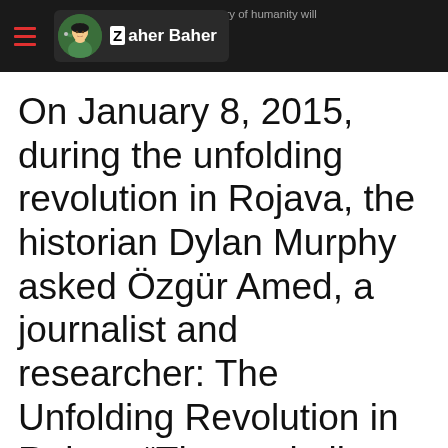Zaher Baher
On January 8, 2015, during the unfolding revolution in Rojava, the historian Dylan Murphy asked Özgür Amed, a journalist and researcher: The Unfolding Revolution in Rojava “The capitalist world is still recovering from the 2008 economic crisis